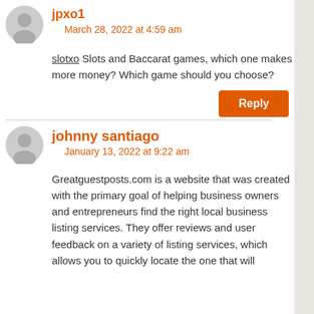jpxo1 — March 28, 2022 at 4:59 am
slotxo Slots and Baccarat games, which one makes more money? Which game should you choose?
Reply
johnny santiago — January 13, 2022 at 9:22 am
Greatguestposts.com is a website that was created with the primary goal of helping business owners and entrepreneurs find the right local business listing services. They offer reviews and user feedback on a variety of listing services, which allows you to quickly locate the one that will